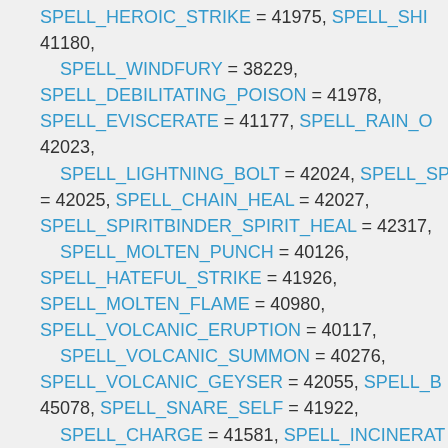SPELL_HEROIC_STRIKE = 41975, SPELL_SHIELD_BASH = 41180, SPELL_WINDFURY = 38229, SPELL_DEBILITATING_POISON = 41978, SPELL_EVISCERATE = 41177, SPELL_RAIN_OF_FIRE = 42023, SPELL_LIGHTNING_BOLT = 42024, SPELL_SP... = 42025, SPELL_CHAIN_HEAL = 42027, SPELL_SPIRITBINDER_SPIRIT_HEAL = 42317, SPELL_MOLTEN_PUNCH = 40126, SPELL_HATEFUL_STRIKE = 41926, SPELL_MOLTEN_FLAME = 40980, SPELL_VOLCANIC_ERUPTION = 40117, SPELL_VOLCANIC_SUMMON = 40276, SPELL_VOLCANIC_GEYSER = 42055, SPELL_B... = 45078, SPELL_SNARE_SELF = 41922, SPELL_CHARGE = 41581, SPELL_INCINERAT... SPELL_CRUSHING_SHADOWS = 40243, SPELL_SHADOW_OF_DEATH = 40251, SPELL_SHADOW_OF_DEATH_REMOVE = 419..., SPELL_BERSERK = 45078,